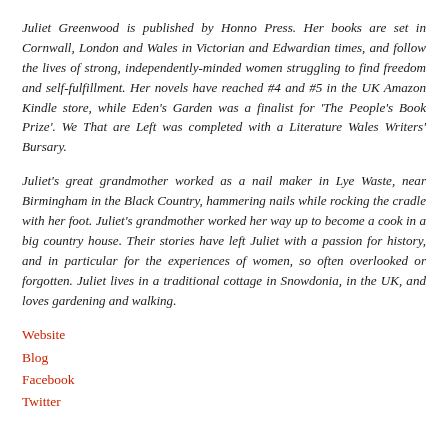Juliet Greenwood is published by Honno Press. Her books are set in Cornwall, London and Wales in Victorian and Edwardian times, and follow the lives of strong, independently-minded women struggling to find freedom and self-fulfillment. Her novels have reached #4 and #5 in the UK Amazon Kindle store, while Eden's Garden was a finalist for 'The People's Book Prize'. We That are Left was completed with a Literature Wales Writers' Bursary.
Juliet's great grandmother worked as a nail maker in Lye Waste, near Birmingham in the Black Country, hammering nails while rocking the cradle with her foot. Juliet's grandmother worked her way up to become a cook in a big country house. Their stories have left Juliet with a passion for history, and in particular for the experiences of women, so often overlooked or forgotten. Juliet lives in a traditional cottage in Snowdonia, in the UK, and loves gardening and walking.
Website
Blog
Facebook
Twitter